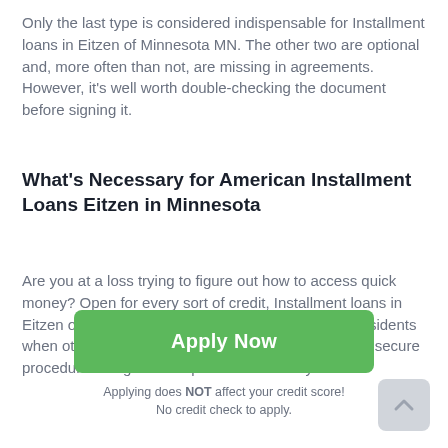Only the last type is considered indispensable for Installment loans in Eitzen of Minnesota MN. The other two are optional and, more often than not, are missing in agreements. However, it's well worth double-checking the document before signing it.
What's Necessary for American Installment Loans Eitzen in Minnesota
Are you at a loss trying to figure out how to access quick money? Open for every sort of credit, Installment loans in Eitzen of Minnesota lend a helping hand to Eitzen residents when other alternatives fail. Apply through a fast and secure procedure and get the requested sum today or on
Apply Now
Applying does NOT affect your credit score!
No credit check to apply.